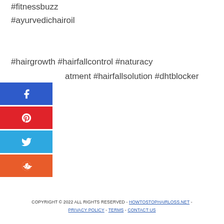#fitnessbuzz
#ayurvedichairoil
#hairgrowth #hairfallcontrol #naturacy
atment #hairfallsolution #dhtblocker
[Figure (other): Social media share buttons: Facebook (blue), Pinterest (red), Twitter (light blue), Reddit (orange-red)]
COPYRIGHT © 2022 ALL RIGHTS RESERVED - HOWTOSTOPHAIRLOSS.NET - PRIVACY POLICY - TERMS - CONTACT US